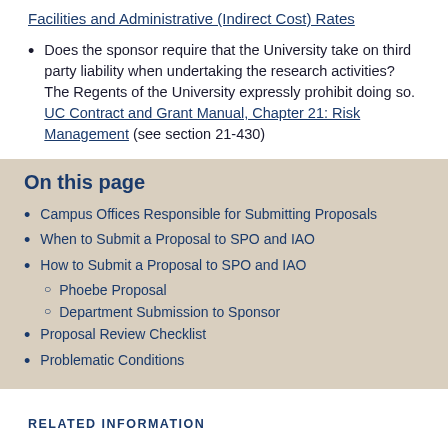Facilities and Administrative (Indirect Cost) Rates
Does the sponsor require that the University take on third party liability when undertaking the research activities? The Regents of the University expressly prohibit doing so. UC Contract and Grant Manual, Chapter 21: Risk Management (see section 21-430)
On this page
Campus Offices Responsible for Submitting Proposals
When to Submit a Proposal to SPO and IAO
How to Submit a Proposal to SPO and IAO
Phoebe Proposal
Department Submission to Sponsor
Proposal Review Checklist
Problematic Conditions
RELATED INFORMATION